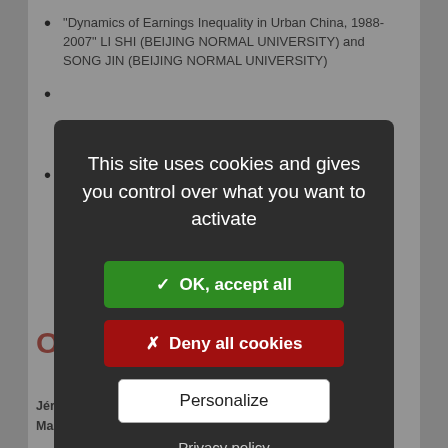"Dynamics of Earnings Inequality in Urban China, 1988-2007" LI SHI (BEIJING NORMAL UNIVERSITY) and SONG JIN (BEIJING NORMAL UNIVERSITY)
[Figure (screenshot): Cookie consent modal dialog with dark background overlay. Contains message 'This site uses cookies and gives you control over what you want to activate', a green 'OK, accept all' button, a red 'Deny all cookies' button, a white 'Personalize' button, and a 'Privacy policy' link.]
O[partially obscured text]
Jérémie Gignoux, PSE-EEP; E-mail : gignoux@pse.ens.fr
Marta Menéndez, Université Paris-Dauphine and PSE-